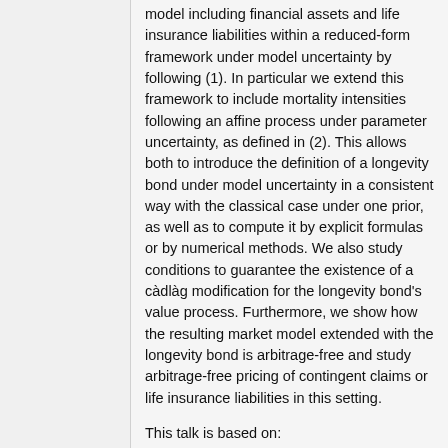model including financial assets and life insurance liabilities within a reduced-form framework under model uncertainty by following (1). In particular we extend this framework to include mortality intensities following an affine process under parameter uncertainty, as defined in (2). This allows both to introduce the definition of a longevity bond under model uncertainty in a consistent way with the classical case under one prior, as well as to compute it by explicit formulas or by numerical methods. We also study conditions to guarantee the existence of a càdlàg modification for the longevity bond's value process. Furthermore, we show how the resulting market model extended with the longevity bond is arbitrage-free and study arbitrage-free pricing of contingent claims or life insurance liabilities in this setting.
This talk is based on:
(1) Francesca Biagini and Yinglin Zhang. Reduced-form framework under model uncertainty. The Annals of Applied Probability.